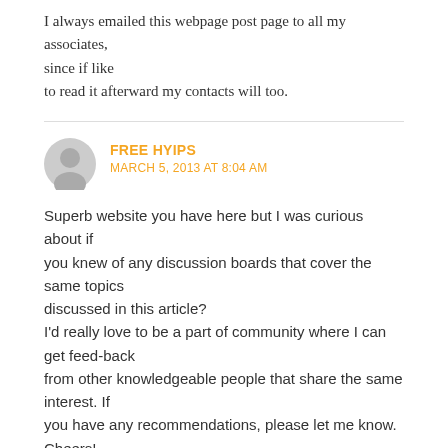I always emailed this webpage post page to all my associates, since if like to read it afterward my contacts will too.
FREE HYIPS
MARCH 5, 2013 AT 8:04 AM
Superb website you have here but I was curious about if you knew of any discussion boards that cover the same topics discussed in this article? I'd really love to be a part of community where I can get feed-back from other knowledgeable people that share the same interest. If you have any recommendations, please let me know. Cheers!
Comments are closed.
Search Vector Diary